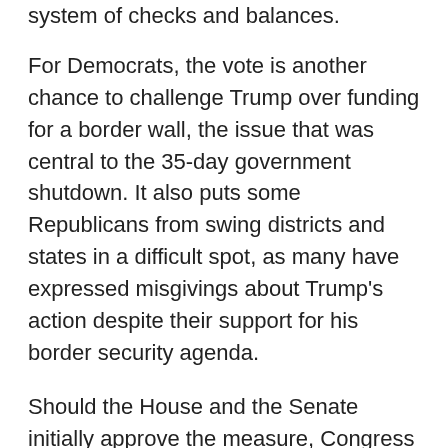system of checks and balances.
For Democrats, the vote is another chance to challenge Trump over funding for a border wall, the issue that was central to the 35-day government shutdown. It also puts some Republicans from swing districts and states in a difficult spot, as many have expressed misgivings about Trump's action despite their support for his border security agenda.
Should the House and the Senate initially approve the measure, Congress seems unlikely to muster the two-thirds majorities in each chamber that would be needed later to override a Trump veto.
The measure to block Trump's edict will be closely watched in the Senate, where moderates such as Susan Collins, R-Maine, and Lamar Alexander, R-Tenn., have